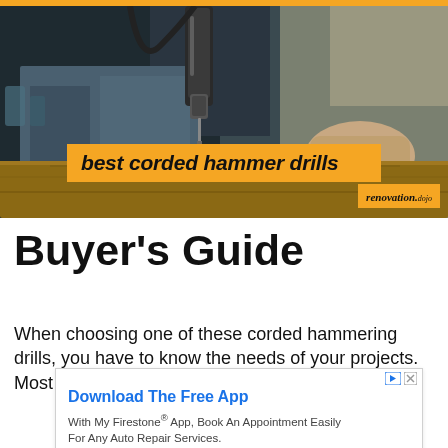[Figure (photo): Person using a corded hammer drill on a wooden plank, close-up of hands and drill bit against wood. Header image for a buyer's guide article on renovation.dojo.]
Buyer's Guide
When choosing one of these corded hammering drills, you have to know the needs of your projects. Most of these
[Figure (other): Advertisement banner: Download The Free App. With My Firestone® App, Book An Appointment Easily For Any Auto Repair Services. Firestone. Download button.]